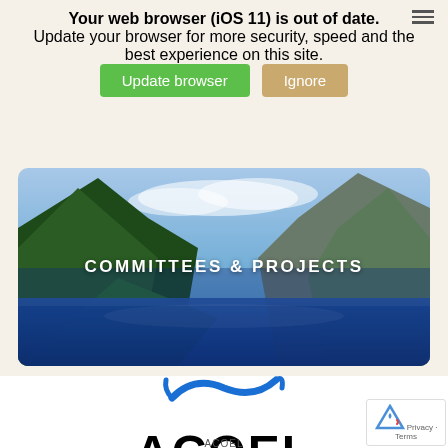Your web browser (iOS 11) is out of date. Update your browser for more security, speed and the best experience on this site.
Update browser | Ignore
[Figure (photo): Mountain lake landscape with forested slopes and blue sky, used as hero banner image with 'COMMITTEES & PROJECTS' text overlay]
COMMITTEES & PROJECTS
[Figure (logo): ACOEL logo with blue swooping bird/wave mark above bold ACOEL text]
ACOEL